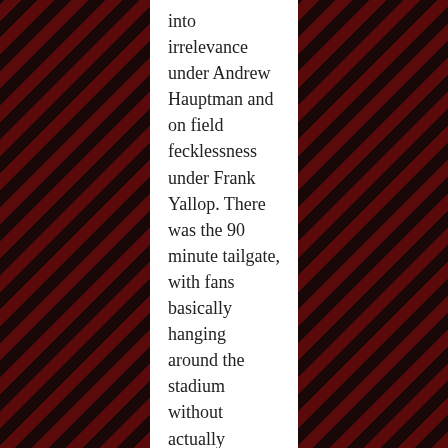into irrelevance under Andrew Hauptman and on field fecklessness under Frank Yallop. There was the 90 minute tailgate, with fans basically hanging around the stadium without actually entering it, and for those that did go in towards the end, Section 8 were deliberately silent and organised the unfurling of black banners and black streamers were thrown. One memorable sign said 'Hauptman farts in elevators'.  The Fire front office fought back by releasing a suspiciously large amount of general admission, or standing room only tickets, and